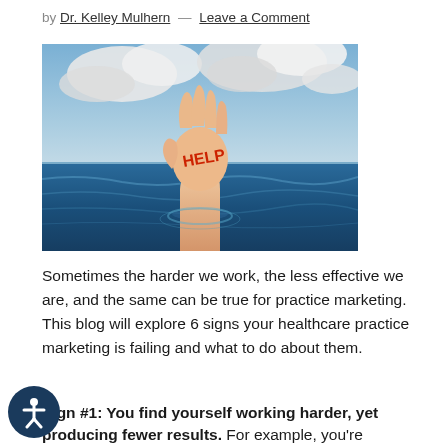by Dr. Kelley Mulhern — Leave a Comment
[Figure (photo): A hand rising out of the ocean with the word HELP written in red on the palm, against a blue sky with clouds.]
Sometimes the harder we work, the less effective we are, and the same can be true for practice marketing. This blog will explore 6 signs your healthcare practice marketing is failing and what to do about them.
Sign #1: You find yourself working harder, yet producing fewer results. For example, you're